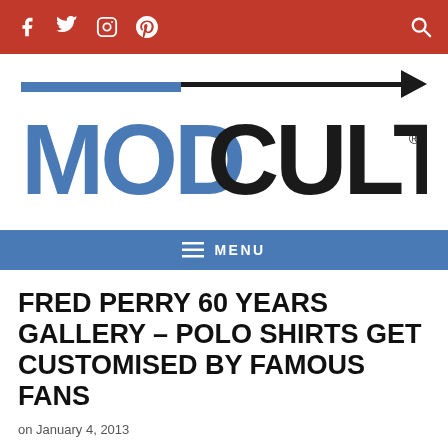Social icons and search bar (Facebook, Twitter, Instagram, Pinterest, Search)
[Figure (logo): Modculture logo — MOD in blue bold, CULTURE in black bold, with a blue horizontal bar and a black arrow pointing right above the text]
MENU
FRED PERRY 60 YEARS GALLERY – POLO SHIRTS GET CUSTOMISED BY FAMOUS FANS
on January 4, 2013